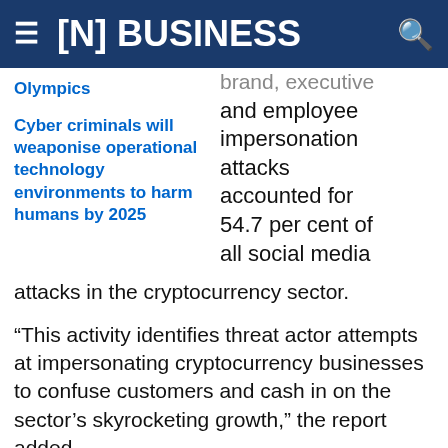≡ [N] BUSINESS
Olympics
Cyber criminals will weaponise operational technology environments to harm humans by 2025
brand, executive and employee impersonation attacks accounted for 54.7 per cent of all social media attacks in the cryptocurrency sector.
“This activity identifies threat actor attempts at impersonating cryptocurrency businesses to confuse customers and cash in on the sector’s skyrocketing growth,” the report added.
Phishing typically comes in the form of fraudulent emails or pop-up messages that aim